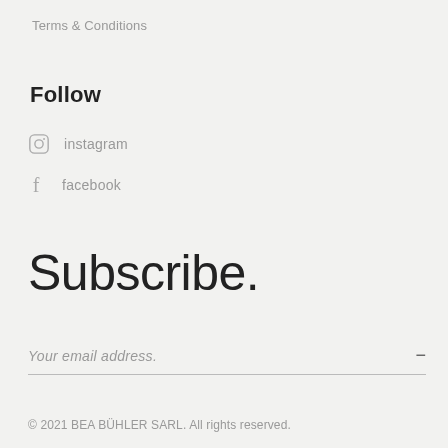Terms & Conditions
Follow
instagram
facebook
Subscribe.
Your email address.
© 2021 BEA BÜHLER SARL. All rights reserved.